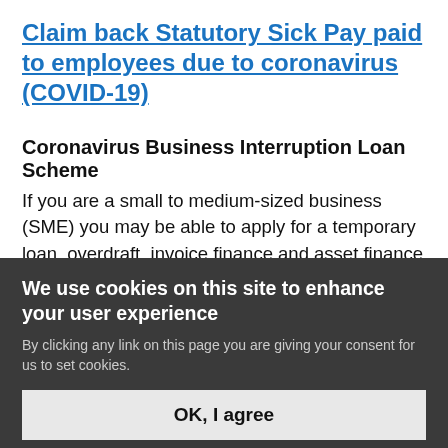Claim back Statutory Sick Pay paid to employees due to coronavirus (COVID-19)
Coronavirus Business Interruption Loan Scheme
If you are a small to medium-sized business (SME) you may be able to apply for a temporary loan, overdraft, invoice finance and asset finance of up to £5 million, for up to 6 years. You may also be eligible for Business Interruption Payment to cover the first 12 months of interest payments and any lender fees. The government will give lenders 80% guarantee on each loan (subject to pre-lender cap on loans).
We use cookies on this site to enhance your user experience
By clicking any link on this page you are giving your consent for us to set cookies.
OK, I agree
No, thanks
Apply for the Coronavirus Business Interruption Loan Scheme
Coronavirus Bounce Back Loan
If your small to medium-sized business (SME) is